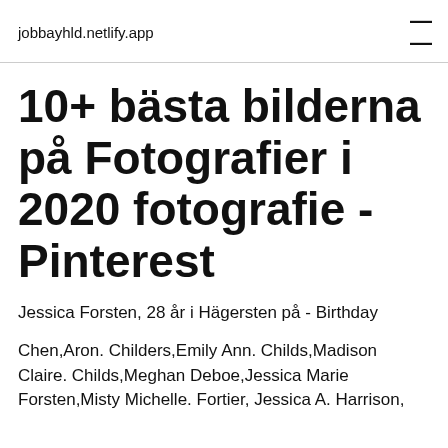jobbayhld.netlify.app
10+ bästa bilderna på Fotografier i 2020 fotografie - Pinterest
Jessica Forsten, 28 år i Hägersten på - Birthday
Chen,Aron. Childers,Emily Ann. Childs,Madison Claire. Childs,Meghan Deboe,Jessica Marie Forsten,Misty Michelle. Fortier, Jessica A. Harrison,